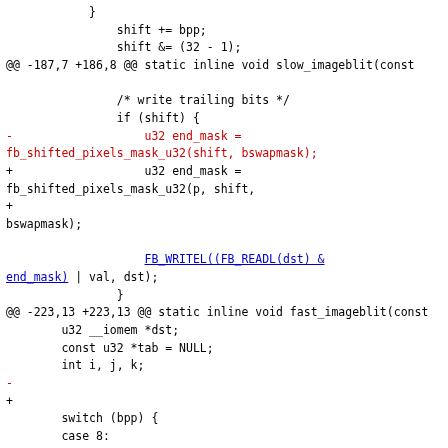Code diff showing changes to slow_imageblit and fast_imageblit functions, including modifications to fb_shifted_pixels_mask_u32 and FB_WRITEL calls, and tab pointer changes for cfb_tab8.